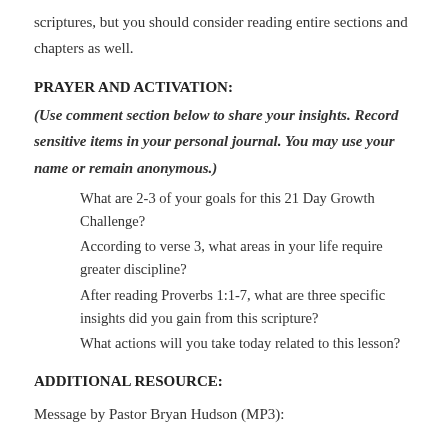scriptures, but you should consider reading entire sections and chapters as well.
PRAYER AND ACTIVATION:
(Use comment section below to share your insights. Record sensitive items in your personal journal. You may use your name or remain anonymous.)
What are 2-3 of your goals for this 21 Day Growth Challenge?
According to verse 3, what areas in your life require greater discipline?
After reading Proverbs 1:1-7, what are three specific insights did you gain from this scripture?
What actions will you take today related to this lesson?
ADDITIONAL RESOURCE:
Message by Pastor Bryan Hudson (MP3):